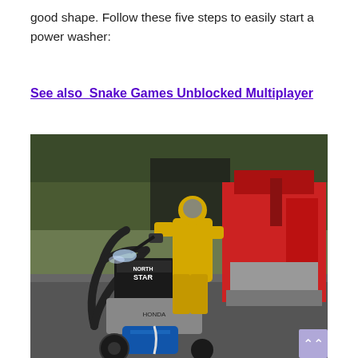good shape. Follow these five steps to easily start a power washer:
See also  Snake Games Unblocked Multiplayer
[Figure (photo): A person wearing a yellow hazmat suit and respirator using a NorthStar power washer (blue pump, Honda engine) on a paved surface, with red industrial machinery in the background and trees behind.]